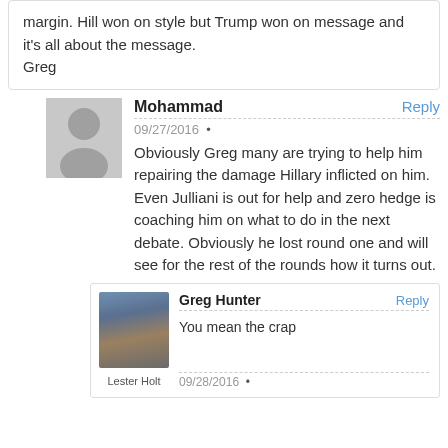margin. Hill won on style but Trump won on message and it's all about the message. Greg
Mohammad • 09/27/2016 • Obviously Greg many are trying to help him repairing the damage Hillary inflicted on him. Even Julliani is out for help and zero hedge is coaching him on what to do in the next debate. Obviously he lost round one and will see for the rest of the rounds how it turns out.
Greg Hunter Reply • You mean the crap • 09/28/2016 •